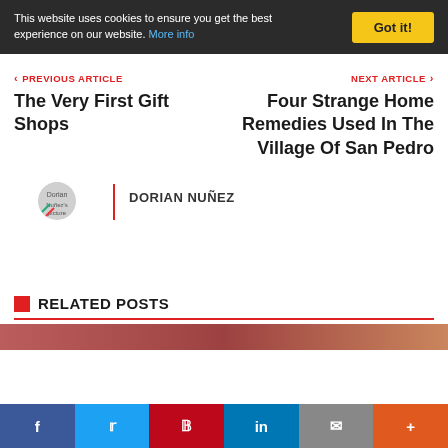This website uses cookies to ensure you get the best experience on our website. More info | Got it!
PREVIOUS ARTICLE
The Very First Gift Shops
NEXT ARTICLE
Four Strange Home Remedies Used In The Village Of San Pedro
Dorian Nuñez's picture | DORIAN NUÑEZ
RELATED POSTS